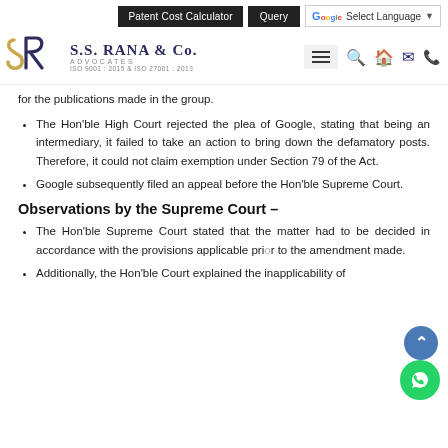Patent Cost Calculator | Query | G Select Language
[Figure (logo): S.S. Rana & Co. Advocates logo with SR monogram, ISO 9001:2015 & ISO 27001:2013 certification]
for the publications made in the group.
The Hon'ble High Court rejected the plea of Google, stating that being an intermediary, it failed to take an action to bring down the defamatory posts. Therefore, it could not claim exemption under Section 79 of the Act.
Google subsequently filed an appeal before the Hon'ble Supreme Court.
Observations by the Supreme Court –
The Hon'ble Supreme Court stated that the matter had to be decided in accordance with the provisions applicable prior to the amendment made.
Additionally, the Hon'ble Court explained the inapplicability of